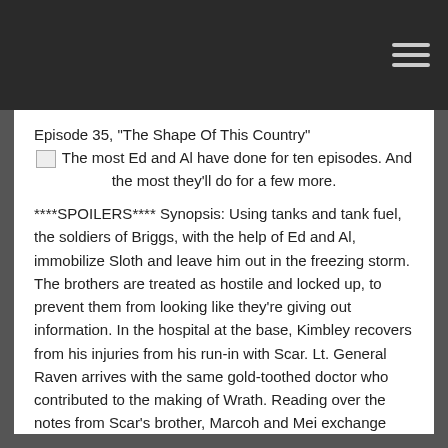[Figure (other): Dark navigation bar with hamburger menu icon (three horizontal lines) at top right]
Episode 35, "The Shape Of This Country"
The most Ed and Al have done for ten episodes. And the most they'll do for a few more.
****SPOILERS**** Synopsis: Using tanks and tank fuel, the soldiers of Briggs, with the help of Ed and Al, immobilize Sloth and leave him out in the freezing storm. The brothers are treated as hostile and locked up, to prevent them from looking like they're giving out information. In the hospital at the base, Kimbley recovers from his injuries from his run-in with Scar. Lt. General Raven arrives with the same gold-toothed doctor who contributed to the making of Wrath. Reading over the notes from Scar's brother, Marcoh and Mei exchange information about their countries' alchemy. Armstrong takes the Elrics into the tunnel Sloth had been building and tells them to explain what they know.
Read More